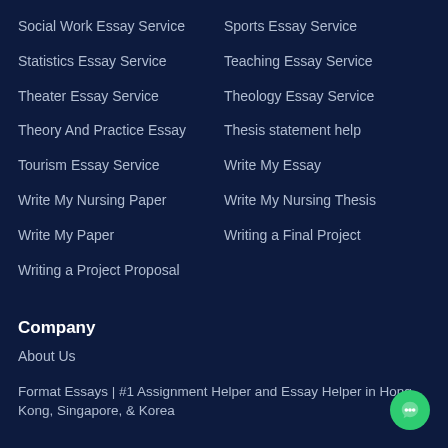Social Work Essay Service
Sports Essay Service
Statistics Essay Service
Teaching Essay Service
Theater Essay Service
Theology Essay Service
Theory And Practice Essay
Thesis statement help
Tourism Essay Service
Write My Essay
Write My Nursing Paper
Write My Nursing Thesis
Write My Paper
Writing a Final Project
Writing a Project Proposal
Company
About Us
Format Essays | #1 Assignment Helper and Essay Helper in Hong Kong, Singapore, & Korea